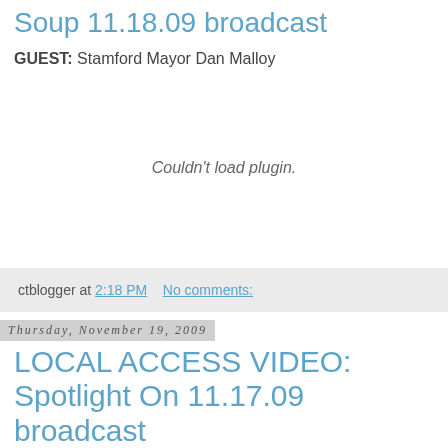Soup 11.18.09 broadcast
GUEST: Stamford Mayor Dan Malloy
[Figure (other): Embedded video plugin area showing 'Couldn't load plugin.' message]
ctblogger at 2:18 PM    No comments:
Thursday, November 19, 2009
LOCAL ACCESS VIDEO: Spotlight On 11.17.09 broadcast